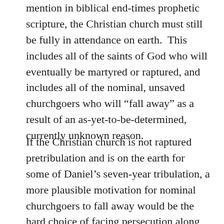mention in biblical end-times prophetic scripture, the Christian church must still be fully in attendance on earth.  This includes all of the saints of God who will eventually be martyred or raptured, and includes all of the nominal, unsaved churchgoers who will “fall away” as a result of an as-yet-to-be-determined, currently unknown reason.
If the Christian church is not raptured pretribulation and is on the earth for some of Daniel’s seven-year tribulation, a more plausible motivation for nominal churchgoers to fall away would be the hard choice of facing persecution along with the genuine church, compared to the easier choice of saving their own lives by cooperating with the directive